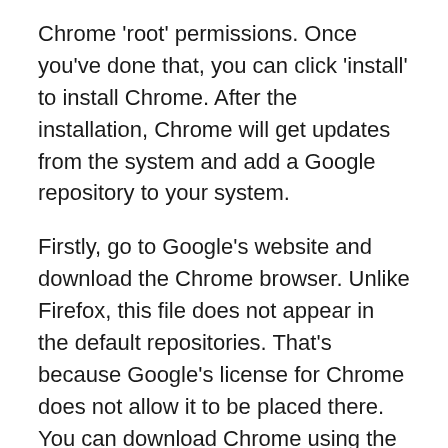Chrome 'root' permissions. Once you've done that, you can click 'install' to install Chrome. After the installation, Chrome will get updates from the system and add a Google repository to your system.
Firstly, go to Google's website and download the Chrome browser. Unlike Firefox, this file does not appear in the default repositories. That's because Google's license for Chrome does not allow it to be placed there. You can download Chrome using the link below. You'll need a terminal to do so. Now, install Chrome and enjoy. Just make sure you have the latest version of the browser installed before starting the installation.